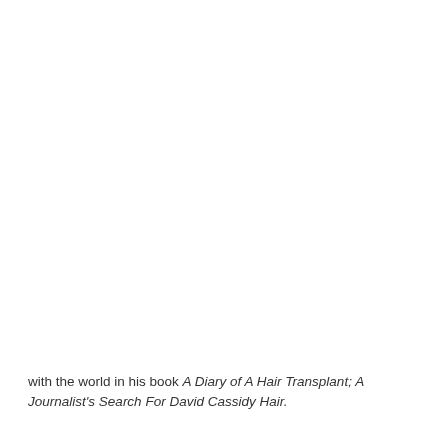with the world in his book A Diary of A Hair Transplant; A Journalist's Search For David Cassidy Hair.